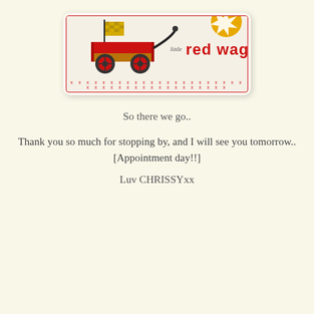[Figure (logo): Little Red Wagon logo: illustration of a red wagon with a yellow checkered flag, black handle, with text 'little red wagon' in red on a beige background with a red border and decorative x-strip at the bottom.]
So there we go..
Thank you so much for stopping by, and I will see you tomorrow..
[Appointment day!!]
Luv CHRISSYxx